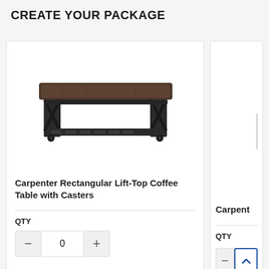CREATE YOUR PACKAGE
[Figure (photo): Carpenter Rectangular Lift-Top Coffee Table with Casters — dark wood top with black metal X-frame base and casters, bottom shelf]
Carpenter Rectangular Lift-Top Coffee Table with Casters
QTY
0
Carpent
QTY